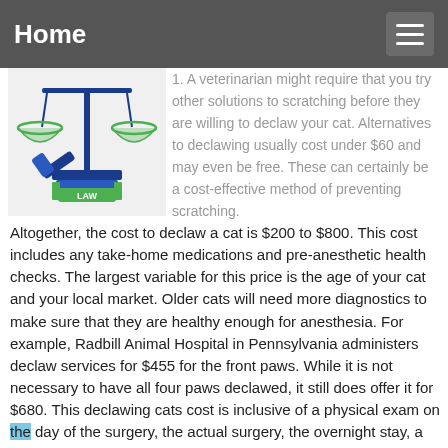Home
[Figure (illustration): A blue and green scales of justice with a gavel and a stack of books labeled LAW]
1. A veterinarian might require that you try other solutions to scratching before they are willing to declaw your cat. Alternatives to declawing usually cost under $60 and may even be free. These can certainly be a cost-effective method of preventing scratching. Altogether, the cost to declaw a cat is $200 to $800. This cost includes any take-home medications and pre-anesthetic health checks. The largest variable for this price is the age of your cat and your local market. Older cats will need more diagnostics to make sure that they are healthy enough for anesthesia. For example, Radbill Animal Hospital in Pennsylvania administers declaw services for $455 for the front paws. While it is not necessary to have all four paws declawed, it still does offer it for $680. This declawing cats cost is inclusive of a physical exam on the day of the surgery, the actual surgery, the overnight stay, a